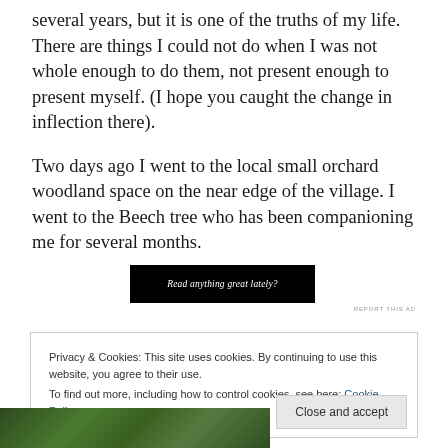several years, but it is one of the truths of my life. There are things I could not do when I was not whole enough to do them, not present enough to present myself. (I hope you caught the change in inflection there).
Two days ago I went to the local small orchard woodland space on the near edge of the village. I went to the Beech tree who has been companioning me for several months.
[Figure (other): Black banner advertisement reading 'Read anything great lately?']
REPORT THIS AD
Privacy & Cookies: This site uses cookies. By continuing to use this website, you agree to their use.
To find out more, including how to control cookies, see here: Cookie Policy
[Figure (photo): Partial view of green foliage/leaves at the bottom of the page]